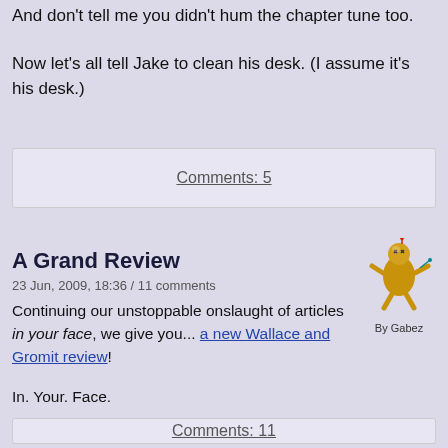And don't tell me you didn't hum the chapter tune too.
Now let's all tell Jake to clean his desk. (I assume it's his desk.)
Comments: 5
A Grand Review
23 Jun, 2009, 18:36 / 11 comments
[Figure (illustration): Gold voodoo doll figure with pins, by Gabez]
Continuing our unstoppable onslaught of articles in your face, we give you... a new Wallace and Gromit review!
In. Your. Face.
Comments: 11